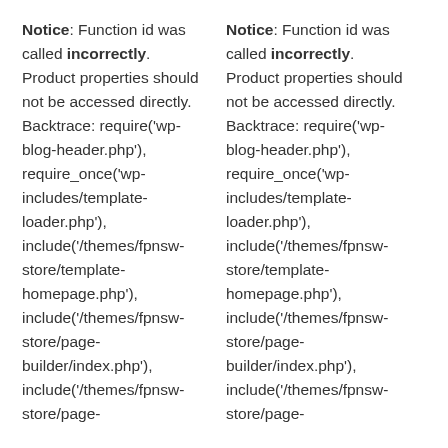Notice: Function id was called incorrectly. Product properties should not be accessed directly. Backtrace: require('wp-blog-header.php'), require_once('wp-includes/template-loader.php'), include('/themes/fpnsw-store/template-homepage.php'), include('/themes/fpnsw-store/page-builder/index.php'), include('/themes/fpnsw-store/page-
Notice: Function id was called incorrectly. Product properties should not be accessed directly. Backtrace: require('wp-blog-header.php'), require_once('wp-includes/template-loader.php'), include('/themes/fpnsw-store/template-homepage.php'), include('/themes/fpnsw-store/page-builder/index.php'), include('/themes/fpnsw-store/page-